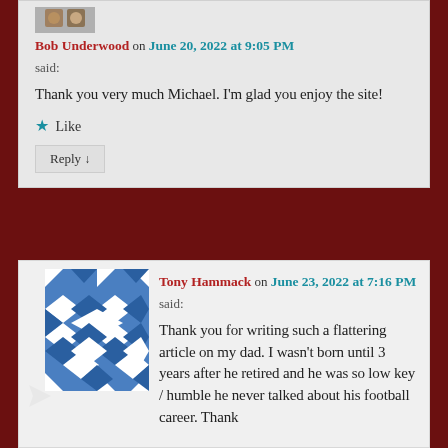[Figure (illustration): Partial avatar image at top of first comment - brown/tan geometric pattern identicon]
Bob Underwood on June 20, 2022 at 9:05 PM
said:
Thank you very much Michael. I'm glad you enjoy the site!
★ Like
Reply ↓
[Figure (illustration): Blue and white geometric pattern identicon avatar for Tony Hammack]
Tony Hammack on June 23, 2022 at 7:16 PM
said:
Thank you for writing such a flattering article on my dad. I wasn't born until 3 years after he retired and he was so low key / humble he never talked about his football career. Thank